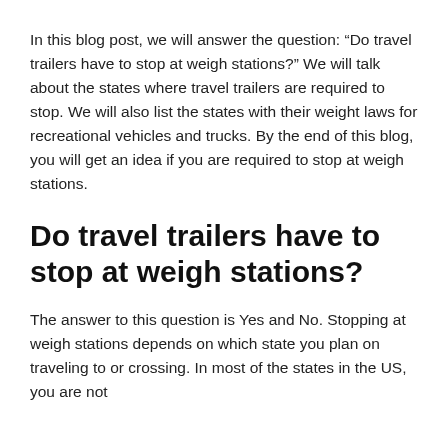In this blog post, we will answer the question: “Do travel trailers have to stop at weigh stations?” We will talk about the states where travel trailers are required to stop. We will also list the states with their weight laws for recreational vehicles and trucks. By the end of this blog, you will get an idea if you are required to stop at weigh stations.
Do travel trailers have to stop at weigh stations?
The answer to this question is Yes and No. Stopping at weigh stations depends on which state you plan on traveling to or crossing. In most of the states in the US, you are not